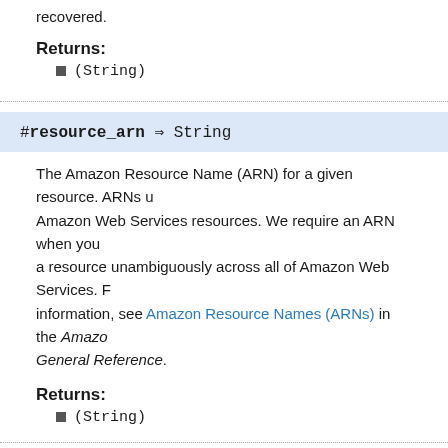recovered.
Returns:
(String)
#resource_arn ⇒ String
The Amazon Resource Name (ARN) for a given resource. ARNs uniquely identify Amazon Web Services resources. We require an ARN when you need to specify a resource unambiguously across all of Amazon Web Services. For more information, see Amazon Resource Names (ARNs) in the Amazon Web Services General Reference.
Returns:
(String)
#s3 ⇒ Types::S3DataRepositoryConfiguration